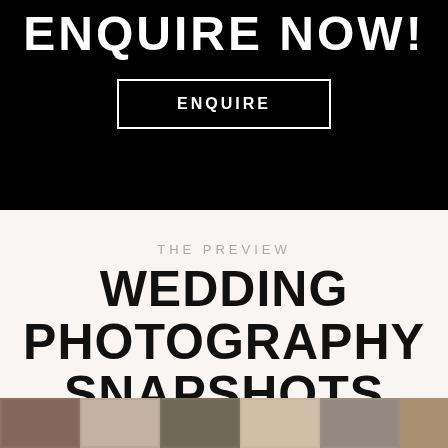ENQUIRE NOW!
ENQUIRE
THE PREVIEW
WEDDING PHOTOGRAPHY SNAPSHOTS
[Figure (photo): Strip of wedding photography snapshot images at the bottom of the page]